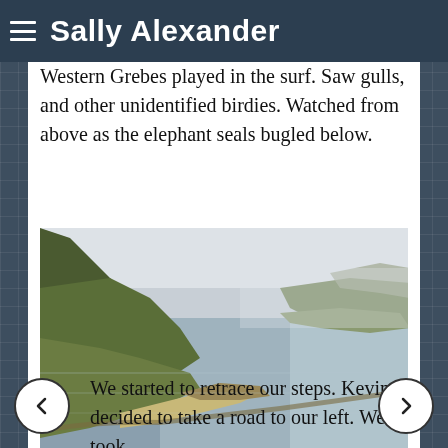Sally Alexander
Western Grebes played in the surf. Saw gulls, and other unidentified birdies. Watched from above as the elephant seals bugled below.
[Figure (photo): Aerial coastal landscape view showing green hills descending to a curved sandy beach with calm grey ocean water and misty headlands in the background.]
We started to retrace our steps. Kevin decided to take a road to our left. We took